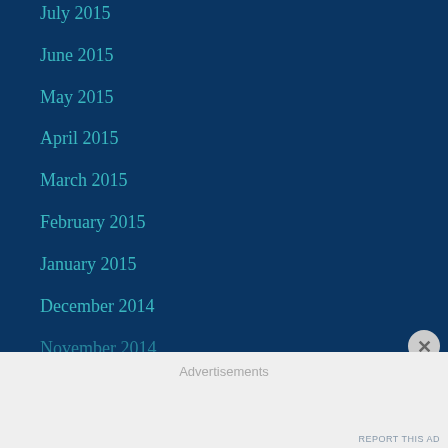July 2015
June 2015
May 2015
April 2015
March 2015
February 2015
January 2015
December 2014
Advertisements
REPORT THIS AD